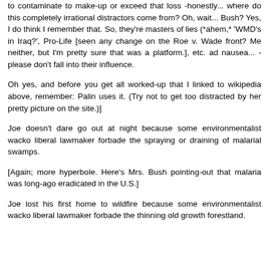to contaminate to make-up or exceed that loss -honestly... where do this completely irrational distractors come from? Oh, wait... Bush? Yes, I do think I remember that. So, they're masters of lies (*ahem,* 'WMD's in Iraq?', Pro-Life [seen any change on the Roe v. Wade front? Me neither, but I'm pretty sure that was a platform.], etc. ad nausea... - please don't fall into their influence.
Oh yes, and before you get all worked-up that I linked to wikipedia above, remember: Palin uses it. (Try not to get too distracted by her pretty picture on the site.)]
Joe doesn't dare go out at night because some environmentalist wacko liberal lawmaker forbade the spraying or draining of malarial swamps.
[Again; more hyperbole. Here's Mrs. Bush pointing-out that malaria was long-ago eradicated in the U.S.]
Joe lost his first home to wildfire because some environmentalist wacko liberal lawmaker forbade the thinning old growth forestland.